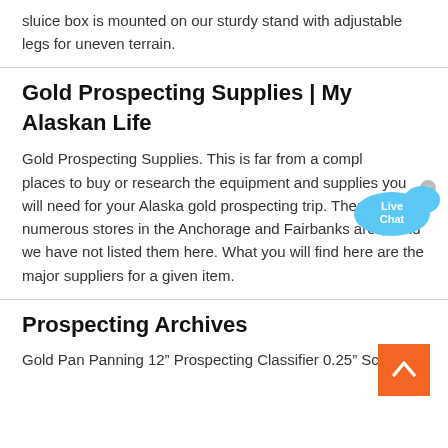sluice box is mounted on our sturdy stand with adjustable legs for uneven terrain.
Gold Prospecting Supplies | My Alaskan Life
Gold Prospecting Supplies. This is far from a complete list of places to buy or research the equipment and supplies you will need for your Alaska gold prospecting trip. There are numerous stores in the Anchorage and Fairbanks areas and we have not listed them here. What you will find here are the major suppliers for a given item.
[Figure (other): Live Chat bubble widget in blue]
Prospecting Archives
Gold Pan Panning 12” Prospecting Classifier 0.25” Screen